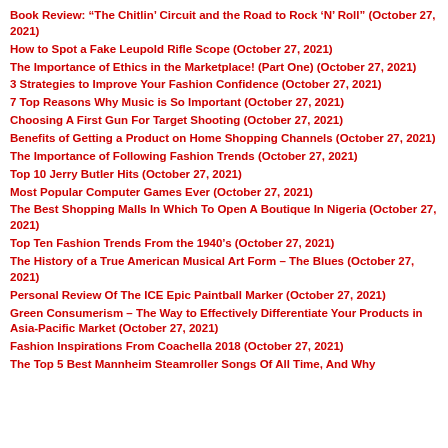Book Review: “The Chitlin’ Circuit and the Road to Rock ‘N’ Roll” (October 27, 2021)
How to Spot a Fake Leupold Rifle Scope (October 27, 2021)
The Importance of Ethics in the Marketplace! (Part One) (October 27, 2021)
3 Strategies to Improve Your Fashion Confidence (October 27, 2021)
7 Top Reasons Why Music is So Important (October 27, 2021)
Choosing A First Gun For Target Shooting (October 27, 2021)
Benefits of Getting a Product on Home Shopping Channels (October 27, 2021)
The Importance of Following Fashion Trends (October 27, 2021)
Top 10 Jerry Butler Hits (October 27, 2021)
Most Popular Computer Games Ever (October 27, 2021)
The Best Shopping Malls In Which To Open A Boutique In Nigeria (October 27, 2021)
Top Ten Fashion Trends From the 1940’s (October 27, 2021)
The History of a True American Musical Art Form – The Blues (October 27, 2021)
Personal Review Of The ICE Epic Paintball Marker (October 27, 2021)
Green Consumerism – The Way to Effectively Differentiate Your Products in Asia-Pacific Market (October 27, 2021)
Fashion Inspirations From Coachella 2018 (October 27, 2021)
The Top 5 Best Mannheim Steamroller Songs Of All Time, And Why (October 27, 2021)